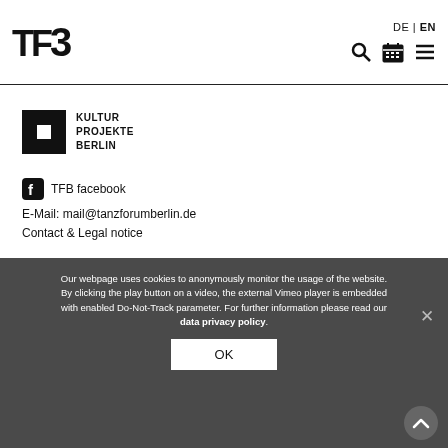TFB logo | DE | EN | search | calendar | menu
[Figure (logo): Kultur Projekte Berlin logo with black square and white inner square, followed by bold text KULTUR PROJEKTE BERLIN]
TFB facebook
E-Mail: mail@tanzforumberlin.de
Contact & Legal notice
Our webpage uses cookies to anonymously monitor the usage of the website. By clicking the play button on a video, the external Vimeo player is embedded with enabled Do-Not-Track parameter. For further information please read our data privacy policy.